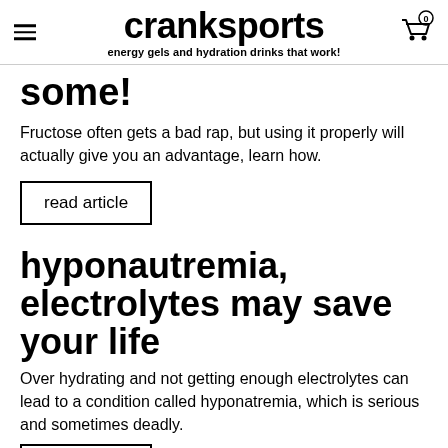cranksports — energy gels and hydration drinks that work!
some!
Fructose often gets a bad rap, but using it properly will actually give you an advantage, learn how.
read article
hyponautremia, electrolytes may save your life
Over hydrating and not getting enough electrolytes can lead to a condition called hyponatremia, which is serious and sometimes deadly.